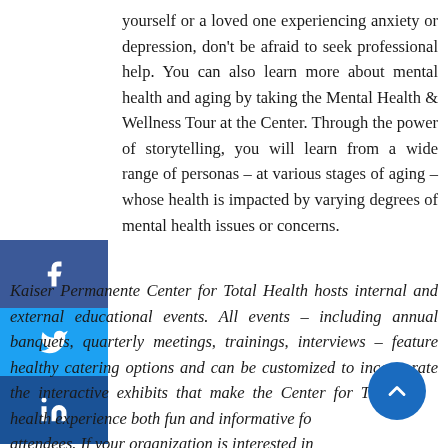yourself or a loved one experiencing anxiety or depression, don't be afraid to seek professional help. You can also learn more about mental health and aging by taking the Mental Health & Wellness Tour at the Center. Through the power of storytelling, you will learn from a wide range of personas – at various stages of aging – whose health is impacted by varying degrees of mental health issues or concerns.
Kaiser Permanente Center for Total Health hosts internal and external educational events. All events – including annual banquets, quarterly meetings, trainings, interviews – feature healthy catering options and can be customized to incorporate the interactive exhibits that make the Center for Total health experience both fun and informative for attendees. If your organization is interested in